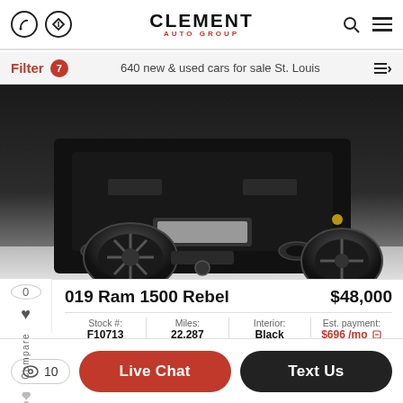Clement Auto Group
Filter 7 — 640 new & used cars for sale St. Louis
[Figure (photo): Rear view of a black 2019 Ram 1500 Rebel truck showing large off-road tires and dual exhaust tips]
2019 Ram 1500 Rebel  $48,000
Stock #: F10713 | Miles: 22,287 | Interior: Black | Est. payment: $696 /mo
Live Chat   Text Us